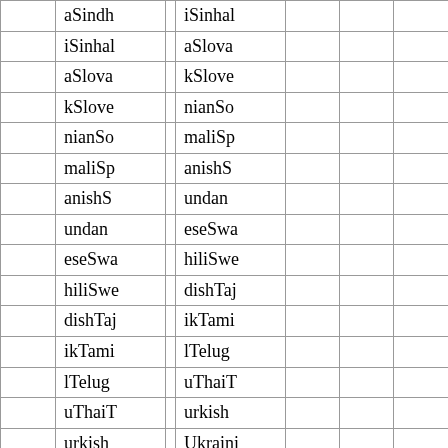|  | col1 |  | col2 |  |  |  |
| --- | --- | --- | --- | --- | --- | --- |
|  | aSindh |  | iSinhal |  |  |  |
|  | iSinhal |  | aSlova |  |  |  |
|  | aSlova |  | kSlove |  |  |  |
|  | kSlove |  | nianSo |  |  |  |
|  | nianSo |  | maliSp |  |  |  |
|  | maliSp |  | anishS |  |  |  |
|  | anishS |  | undan |  |  |  |
|  | undan |  | eseSwa |  |  |  |
|  | eseSwa |  | hiliSwe |  |  |  |
|  | hiliSwe |  | dishTaj |  |  |  |
|  | dishTaj |  | ikTami |  |  |  |
|  | ikTami |  | lTelug |  |  |  |
|  | lTelug |  | uThaiT |  |  |  |
|  | uThaiT |  | urkish |  |  |  |
|  | urkish |  | Ukraini |  |  |  |
|  | Ukraini |  | anUrdu |  |  |  |
|  | anUrdu |  | ... |  |  |  |